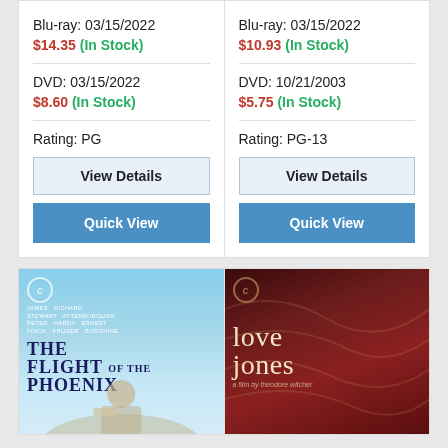Blu-ray: 03/15/2022
$14.35 (In Stock)
DVD: 03/15/2022
$8.60 (In Stock)
Rating: PG
View Details
Quick View
Blu-ray: 03/15/2022
$10.93 (In Stock)
DVD: 10/21/2003
$5.75 (In Stock)
Rating: PG-13
View Details
Quick View
[Figure (photo): Movie poster for The Flight of the Phoenix (Criterion Collection) showing blue sky background with film credits and title text]
[Figure (photo): Movie poster for Love Jones directed by Theodore Witcher, dark red/brown background with stylized title text]